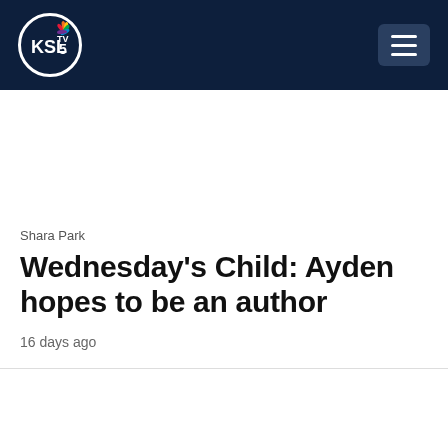[Figure (logo): KSL TV 5 NBC logo in the header navigation bar on dark navy background with hamburger menu button]
Shara Park
Wednesday's Child: Ayden hopes to be an author
16 days ago